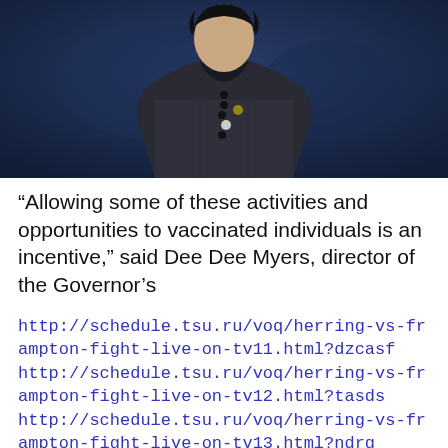[Figure (photo): A person wearing a dark turtleneck and a tweed jacket with a Chanel logo brooch, with beaded necklaces, photographed against a dark blue background.]
“Allowing some of these activities and opportunities to vaccinated individuals is an incentive,” said Dee Dee Myers, director of the Governor’s
http://schedule.tsu.ru/voq/herring-vs-frampton-fight-live-on-tv11.html?dzcasf
http://schedule.tsu.ru/voq/herring-vs-frampton-fight-live-on-tv12.html?tasds
http://schedule.tsu.ru/voq/herring-vs-frampton-fight-live-on-tv13.html?ndrg
http://schedule.tsu.ru/voq/herring-vs-frampton-fight-live-on-tv14.html?...